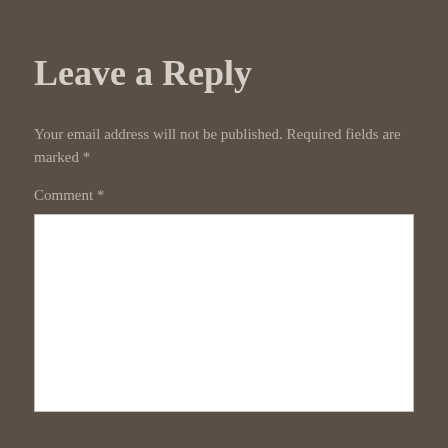Leave a Reply
Your email address will not be published. Required fields are marked *
Comment *
[Figure (other): Empty white comment text area input box]